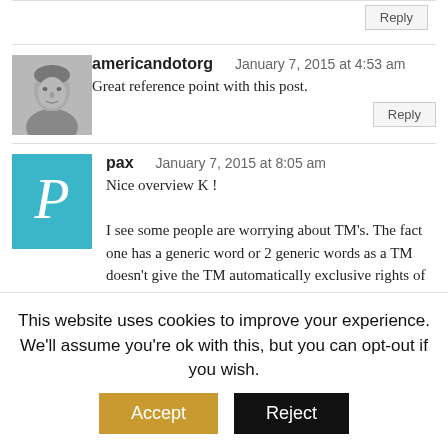Reply
[Figure (photo): Black and white avatar photo of a man]
americandotorg   January 7, 2015 at 4:53 am
Great reference point with this post.
Reply
[Figure (other): Teal square avatar with letter P]
pax   January 7, 2015 at 8:05 am
Nice overview K !

I see some people are worrying about TM's. The fact one has a generic word or 2 generic words as a TM doesn't give the TM automatically exclusive rights of usage. If that was true then most of the internet as in domains would cease to exist. Especially if the domain is being used for exactly that what the generic word or words mean.

A little while ago i saw on some one got
This website uses cookies to improve your experience. We'll assume you're ok with this, but you can opt-out if you wish.
Accept
Reject